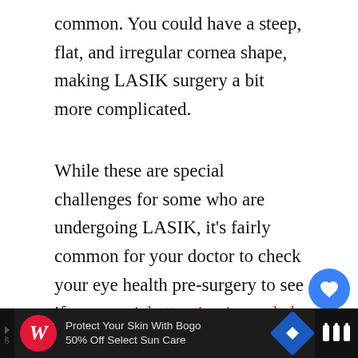common. You could have a steep, flat, and irregular cornea shape, making LASIK surgery a bit more complicated.
While these are special challenges for some who are undergoing LASIK, it's fairly common for your doctor to check your eye health pre-surgery to see if any special attention is needed to avoid complications like corneal ectasia, corneal flap problems, and epithelial ingrowth.
[Figure (other): Social sharing widget with heart/like button (blue circle with heart icon), count badge showing '1', and share button]
[Figure (other): What's Next panel showing thumbnail of person and text 'One Eye Sees Darker Than...']
[Figure (other): Advertisement banner for Walgreens: 'Protect Your Skin With Bogo 50% Off Select Sun Care']